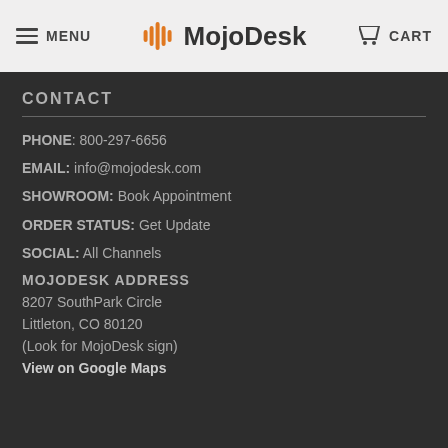MENU  MojoDesk  CART
CONTACT
PHONE: 800-297-6656
EMAIL: info@mojodesk.com
SHOWROOM: Book Appointment
ORDER STATUS: Get Update
SOCIAL: All Channels
MOJODESK ADDRESS
8207 SouthPark Circle
Littleton, CO 80120
(Look for MojoDesk sign)
View on Google Maps